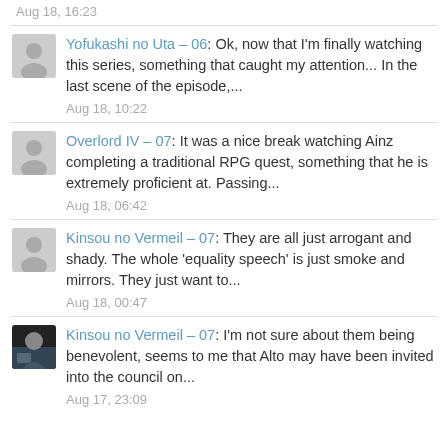Aug 18, 16:23
Yofukashi no Uta – 06: Ok, now that I'm finally watching this series, something that caught my attention... In the last scene of the episode,...
Aug 18, 10:22
Overlord IV – 07: It was a nice break watching Ainz completing a traditional RPG quest, something that he is extremely proficient at. Passing...
Aug 18, 06:42
Kinsou no Vermeil – 07: They are all just arrogant and shady. The whole 'equality speech' is just smoke and mirrors. They just want to...
Aug 18, 00:47
Kinsou no Vermeil – 07: I'm not sure about them being benevolent, seems to me that Alto may have been invited into the council on...
Aug 17, 23:09